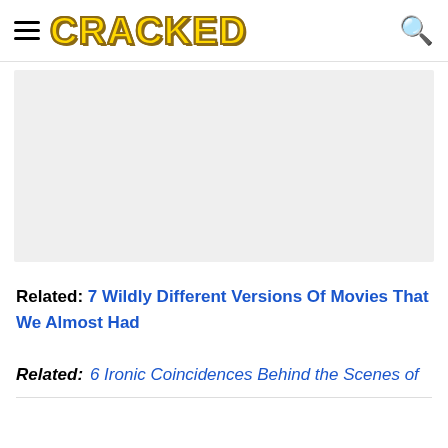CRACKED
[Figure (other): Gray advertisement placeholder box]
Related: 7 Wildly Different Versions Of Movies That We Almost Had
Related: 6 Ironic Coincidences Behind the Scenes of